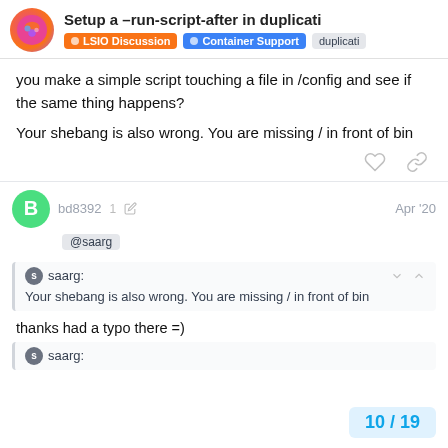Setup a –run-script-after in duplicati | LSIO Discussion | Container Support | duplicati
you make a simple script touching a file in /config and see if the same thing happens?
Your shebang is also wrong. You are missing / in front of bin
bd8392  1  Apr '20
@saarg
saarg: Your shebang is also wrong. You are missing / in front of bin
thanks had a typo there =)
saarg:
10 / 19